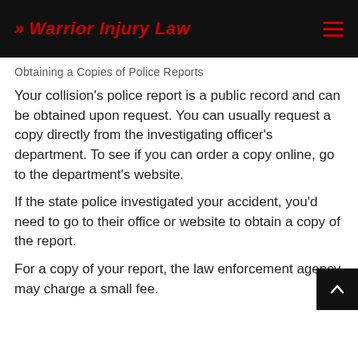>> Warrior Injury Law
Obtaining a Copies of Police Reports
Your collision's police report is a public record and can be obtained upon request. You can usually request a copy directly from the investigating officer's department. To see if you can order a copy online, go to the department's website.
If the state police investigated your accident, you'd need to go to their office or website to obtain a copy of the report.
For a copy of your report, the law enforcement agency may charge a small fee.